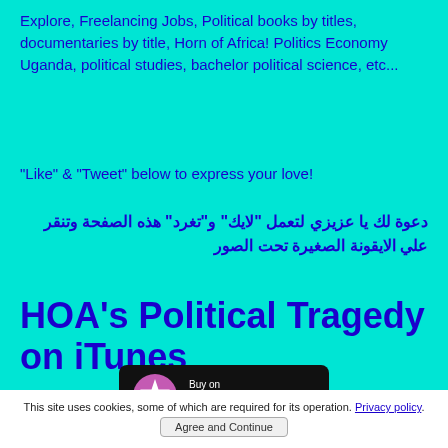Explore, Freelancing Jobs, Political books by titles, documentaries by title, Horn of Africa! Politics Economy Uganda, political studies, bachelor political science, etc...
"Like" & "Tweet" below to express your love!
دعوة لك يا عزيزي لتعمل "لايك" و"تغرد" هذه الصفحة وتنقر علي الايقونة الصغيرة تحت الصور
HOA's Political Tragedy on iTunes
[Figure (logo): Buy on iTunes Store badge — black rounded rectangle with pink star icon and white text]
This site uses cookies, some of which are required for its operation. Privacy policy.
Agree and Continue